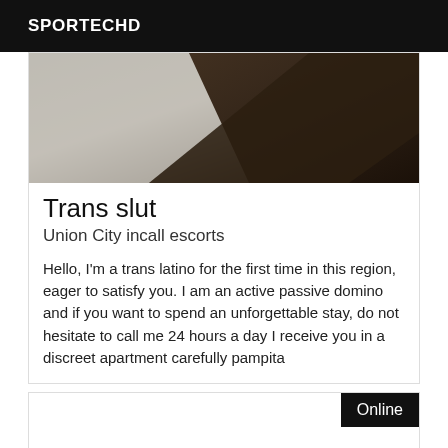SPORTECHD
[Figure (photo): Abstract close-up photo with gray and dark brown tones]
Trans slut
Union City incall escorts
Hello, I'm a trans latino for the first time in this region, eager to satisfy you. I am an active passive domino and if you want to spend an unforgettable stay, do not hesitate to call me 24 hours a day I receive you in a discreet apartment carefully pampita
[Figure (photo): Partially visible card with Online badge in top right corner]